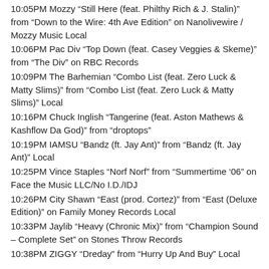10:05PM Mozzy “Still Here (feat. Philthy Rich & J. Stalin)” from “Down to the Wire: 4th Ave Edition” on Nanolivewire / Mozzy Music Local
10:06PM Pac Div “Top Down (feat. Casey Veggies & Skeme)” from “The Div” on RBC Records
10:09PM The Barhemian “Combo List (feat. Zero Luck & Matty Slims)” from “Combo List (feat. Zero Luck & Matty Slims)” Local
10:16PM Chuck Inglish “Tangerine (feat. Aston Mathews & Kashflow Da God)” from “droptops”
10:19PM IAMSU “Bandz (ft. Jay Ant)” from “Bandz (ft. Jay Ant)” Local
10:25PM Vince Staples “Norf Norf” from “Summertime ’06” on Face the Music LLC/No I.D./IDJ
10:26PM City Shawn “East (prod. Cortez)” from “East (Deluxe Edition)” on Family Money Records Local
10:33PM Jaylib “Heavy (Chronic Mix)” from “Champion Sound – Complete Set” on Stones Throw Records
10:38PM ZIGGY “Dreday” from “Hurry Up And Buy” Local